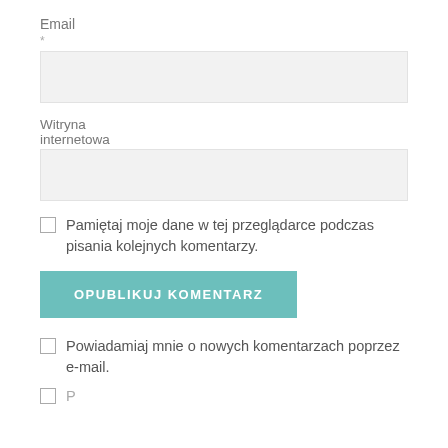Email
*
[Figure (other): Email input text field (empty, light gray background)]
Witryna internetowa
[Figure (other): Website URL input text field (empty, light gray background)]
Pamiętaj moje dane w tej przeglądarce podczas pisania kolejnych komentarzy.
OPUBLIKUJ KOMENTARZ
Powiadamiaj mnie o nowych komentarzach poprzez e-mail.
P...